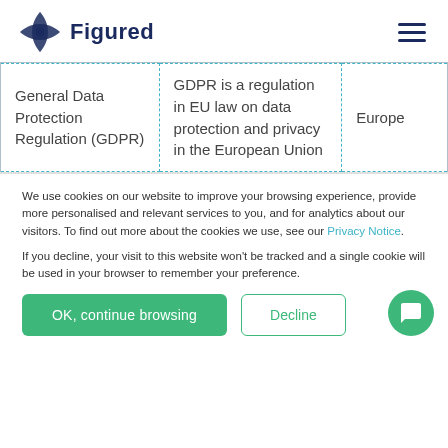[Figure (logo): Figured logo with star/compass icon and bold navy text 'Figured']
| General Data Protection Regulation (GDPR) | GDPR is a regulation in EU law on data protection and privacy in the European Union | Europe |
We use cookies on our website to improve your browsing experience, provide more personalised and relevant services to you, and for analytics about our visitors. To find out more about the cookies we use, see our Privacy Notice.
If you decline, your visit to this website won't be tracked and a single cookie will be used in your browser to remember your preference.
OK, continue browsing
Decline